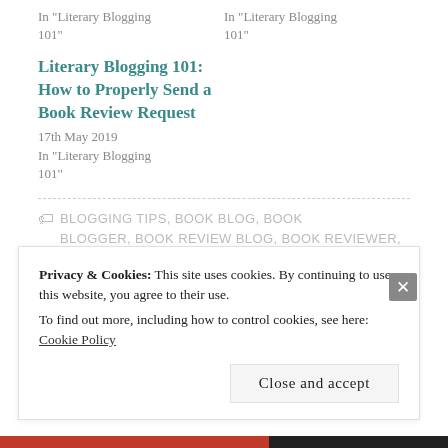In "Literary Blogging 101"
In "Literary Blogging 101"
Literary Blogging 101: How to Properly Send a Book Review Request
17th May 2019
In "Literary Blogging 101"
BLOGGING TIPS, BOOK BLOG, BOOK BLOGGER, BOOK REVIEW BLOG, BOOK REVIEWER, HOW TO GUIDE, LITERARYBLOGGING101, TIPS
Privacy & Cookies: This site uses cookies. By continuing to use this website, you agree to their use.
To find out more, including how to control cookies, see here: Cookie Policy
Close and accept